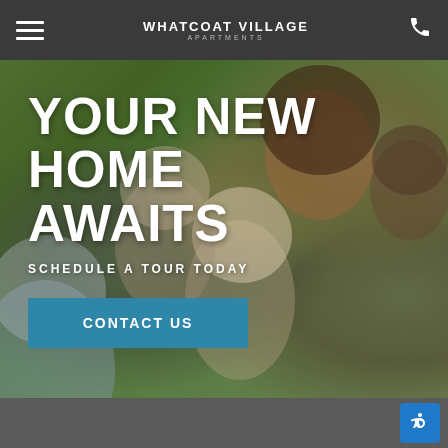WHATCOAT VILLAGE APARTMENTS — navigation bar with hamburger menu and phone icon
[Figure (photo): A smiling diverse family group sitting outdoors in a park setting with green trees in background. Multiple adults and children laughing and enjoying time together.]
YOUR NEW HOME AWAITS
SCHEDULE A TOUR TODAY
CONTACT US
Bottom gray bar with accessibility button